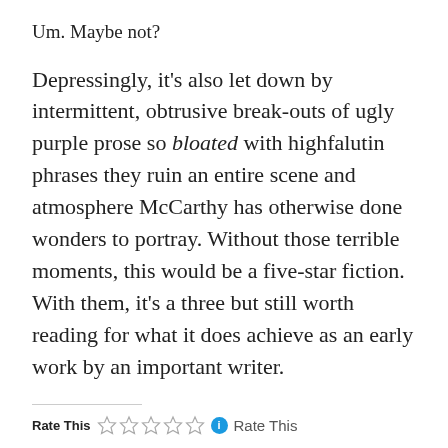Um. Maybe not?
Depressingly, it's also let down by intermittent, obtrusive break-outs of ugly purple prose so bloated with highfalutin phrases they ruin an entire scene and atmosphere McCarthy has otherwise done wonders to portray. Without those terrible moments, this would be a five-star fiction. With them, it's a three but still worth reading for what it does achieve as an early work by an important writer.
Rate This  ☆☆☆☆☆  Rate This
Share this